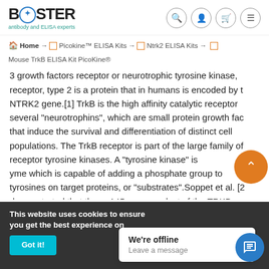BOSTER antibody and ELISA experts
Home → Picokine™ ELISA Kits → Ntrk2 ELISA Kits → Mouse TrkB ELISA Kit PicoKine®
3 growth factors receptor or neurotrophic tyrosine kinase, receptor, type 2 is a protein that in humans is encoded by the NTRK2 gene.[1] TrkB is the high affinity catalytic receptor several "neurotrophins", which are small protein growth factors that induce the survival and differentiation of distinct cell populations. The TrkB receptor is part of the large family of receptor tyrosine kinases. A "tyrosine kinase" is an enzyme which is capable of adding a phosphate group to tyrosines on target proteins, or "substrates".Soppet et al. [2] demonstrated that the gp145 gene product of the TRKB g
This website uses cookies to ensure you get the best experience on
Got it!
We're offline
Leave a message